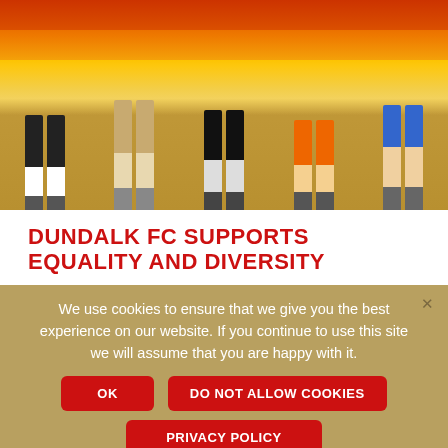[Figure (photo): People holding a large rainbow pride flag on a football pitch, visible from waist down showing legs and feet on green grass.]
DUNDALK FC SUPPORTS EQUALITY AND DIVERSITY
To coincide with the launch of Dundalk Pride, 1903 Dundalk FC Supporters Club Equality ...
We use cookies to ensure that we give you the best experience on our website. If you continue to use this site we will assume that you are happy with it.
OK
DO NOT ALLOW COOKIES
PRIVACY POLICY